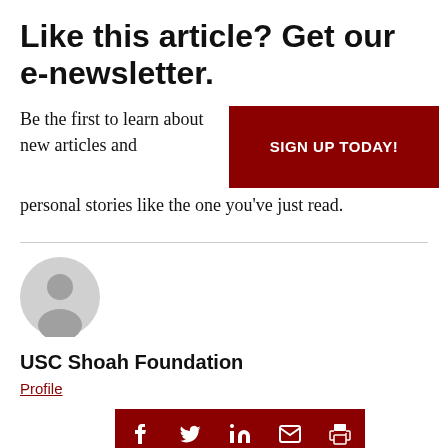Like this article? Get our e-newsletter.
Be the first to learn about new articles and personal stories like the one you've just read.
USC Shoah Foundation
Profile